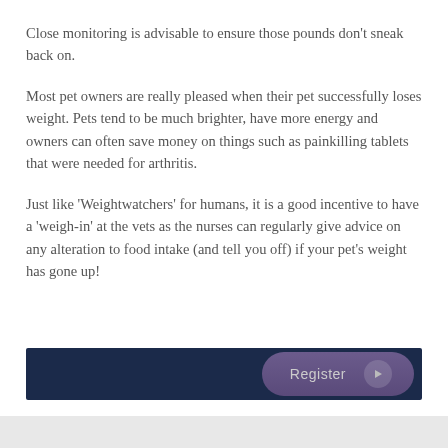Close monitoring is advisable to ensure those pounds don't sneak back on.
Most pet owners are really pleased when their pet successfully loses weight. Pets tend to be much brighter, have more energy and owners can often save money on things such as painkilling tablets that were needed for arthritis.
Just like 'Weightwatchers' for humans, it is a good incentive to have a 'weigh-in' at the vets as the nurses can regularly give advice on any alteration to food intake (and tell you off) if your pet's weight has gone up!
[Figure (other): Dark navy blue registration banner bar with a purple pill-shaped 'Register' button with a play arrow icon on the right side]